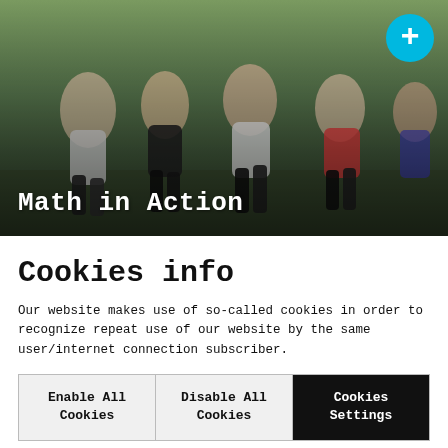[Figure (photo): A group of young women running and smiling at what appears to be an outdoor festival or event. A cyan/teal plus button is visible in the top right corner. The text 'Math in Action' appears overlaid at the bottom left of the image.]
Cookies info
Our website makes use of so-called cookies in order to recognize repeat use of our website by the same user/internet connection subscriber.
Enable All Cookies
Disable All Cookies
Cookies Settings